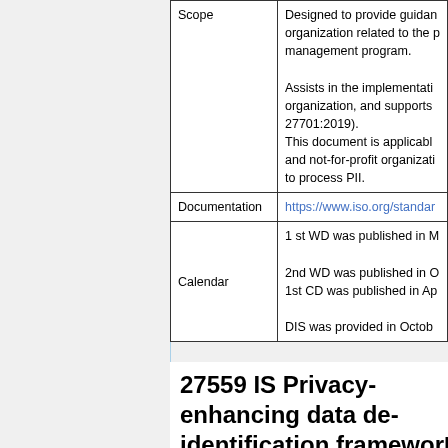|  |  |
| --- | --- |
| Scope | Designed to provide guidance to an organization related to the privacy management program.

Assists in the implementation within an organization, and supports ISO/IEC 27701:2019).
This document is applicable to for-profit and not-for-profit organizations that intend to process PII. |
| Documentation | https://www.iso.org/standard/... |
| Calendar | 1 st WD was published in M...
2nd WD was published in O...
1st CD was published in Ap...
DIS was provided in Octob... |
27559 IS Privacy-enhancing data de-identification framework...